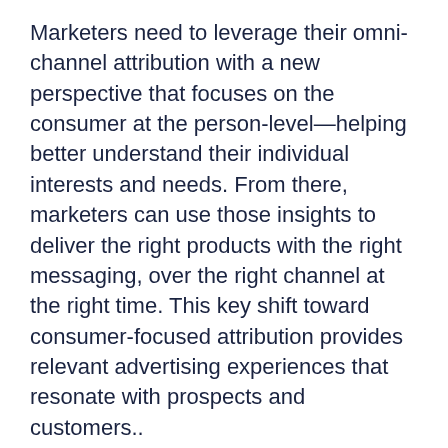Marketers need to leverage their omni-channel attribution with a new perspective that focuses on the consumer at the person-level—helping better understand their individual interests and needs. From there, marketers can use those insights to deliver the right products with the right messaging, over the right channel at the right time. This key shift toward consumer-focused attribution provides relevant advertising experiences that resonate with prospects and customers..
Additionally, consumer-focused omni-channel attribution means that marketing efforts will have a positive impact on the brand of a business, and subsequently, the brand will begin to have a positive impact on campaign ROI. For example, if you're flooding target audiences with irrelevant advertising